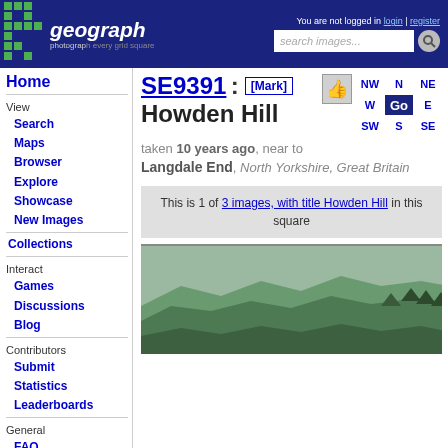geograph - photograph every grid square - You are not logged in login | register - search images...
SE9391 : Howden Hill
taken 10 years ago, near to Langdale End, North Yorkshire, Great Britain
This is 1 of 3 images, with title Howden Hill in this square
Home
View
Search
Maps
Browser
Explore
Showcase
New Images
Collections
Interact
Games
Discussions
Blog
Contributors
Submit
Statistics
Leaderboards
General
FAQ
Help Pages
Sitemap
Contact Us
Support Us
[Figure (photo): Landscape photograph of Howden Hill, North Yorkshire showing green forested hillside]